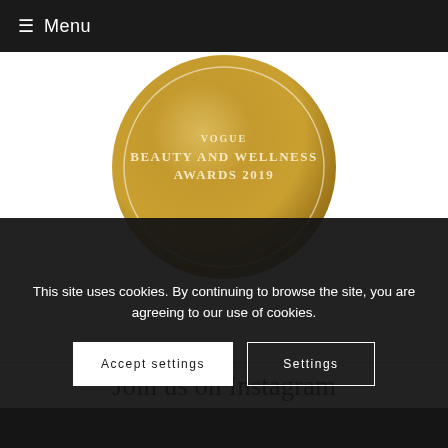☰ Menu
[Figure (illustration): Gold circular medal badge with text 'BEAUTY AND WELLNESS AWARDS 2019' on a golden background with a white inner circle border.]
Join us on Instagram
This site uses cookies. By continuing to browse the site, you are agreeing to our use of cookies.
Accept settings   Settings